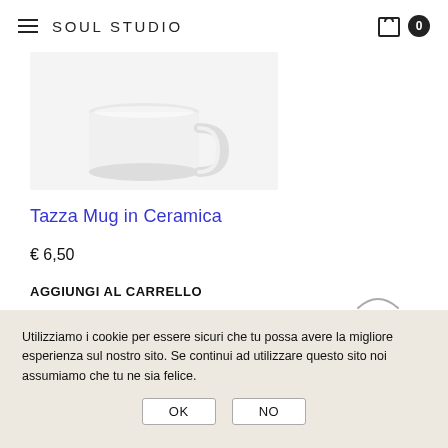SOUL STUDIO
[Figure (photo): Product photo of a white ceramic mug on a light gray background]
Tazza Mug in Ceramica
€ 6,50
AGGIUNGI AL CARRELLO
[Figure (illustration): Heart / wishlist icon]
Utilizziamo i cookie per essere sicuri che tu possa avere la migliore esperienza sul nostro sito. Se continui ad utilizzare questo sito noi assumiamo che tu ne sia felice.
OK  NO